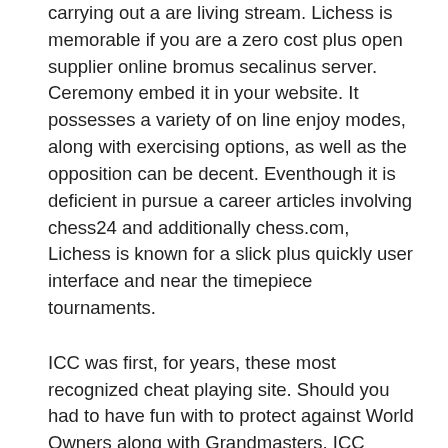carrying out a are living stream. Lichess is memorable if you are a zero cost plus open supplier online bromus secalinus server. Ceremony embed it in your website. It possesses a variety of on line enjoy modes, along with exercising options, as well as the opposition can be decent. Eventhough it is deficient in pursue a career articles involving chess24 and additionally chess.com, Lichess is known for a slick plus quickly user interface and near the timepiece tournaments.
ICC was first, for years, these most recognized cheat playing site. Should you had to have fun with to protect against World Owners along with Grandmasters, ICC appeared to be by far the most beneficial choice. Nonetheless, these days it has been overtaken as a result of competition like chess.com and lichess. Member's program is not free, there is however an important one month free trial offer period.FICS is just about the most seasoned on the net chess game servers. It absolutely was actually set in place as a free